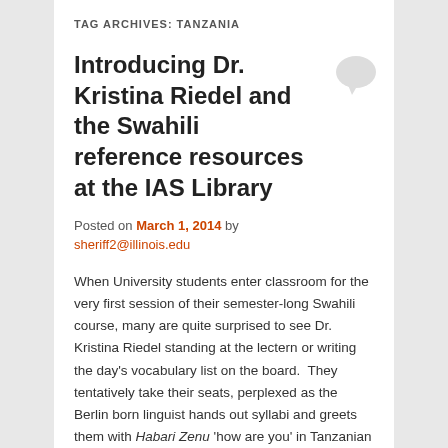TAG ARCHIVES: TANZANIA
Introducing Dr. Kristina Riedel and the Swahili reference resources at the IAS Library
Posted on March 1, 2014 by sheriff2@illinois.edu
When University students enter classroom for the very first session of their semester-long Swahili course, many are quite surprised to see Dr. Kristina Riedel standing at the lectern or writing the day's vocabulary list on the board.  They tentatively take their seats, perplexed as the Berlin born linguist hands out syllabi and greets them with Habari Zenu 'how are you' in Tanzanian Standard Kiswahili. Students pursuing their first semester of Swahili coursework may be surprised to know that Riedel's